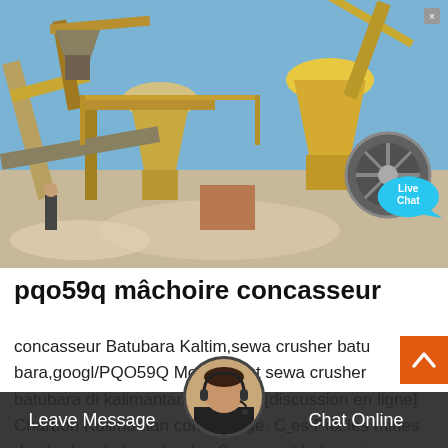[Figure (photo): Industrial mining/crushing plant machinery with yellow equipment, conveyors, and cone crushers against a clear blue sky. A 'Live Chat' speech bubble overlay appears in the top-right corner area of the image.]
pqo59q mâchoire concasseur
concasseur Batubara Kaltim,sewa crusher batu bara,googl/PQO59Q More About sewa crusher batubara di kalimantan selatan,,. [discussion en ligne] Charbon Kalimantan concassage. C es Prix les mines de charbon kalimantan les Con eur pt kalim mines